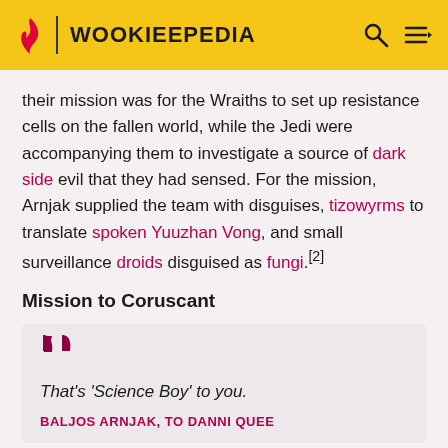WOOKIEEPEDIA
their mission was for the Wraiths to set up resistance cells on the fallen world, while the Jedi were accompanying them to investigate a source of dark side evil that they had sensed. For the mission, Arnjak supplied the team with disguises, tizowyrms to translate spoken Yuuzhan Vong, and small surveillance droids disguised as fungi.[2]
Mission to Coruscant
That's 'Science Boy' to you.
BALJOS ARNJAK, TO DANNI QUEE